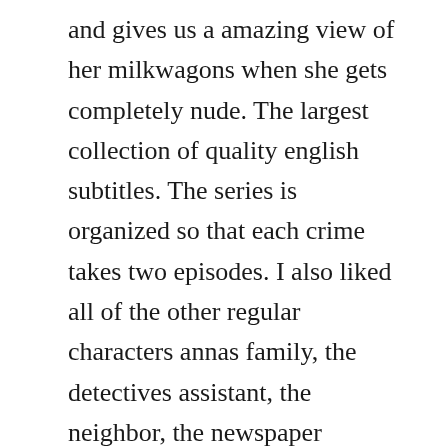and gives us a amazing view of her milkwagons when she gets completely nude. The largest collection of quality english subtitles. The series is organized so that each crime takes two episodes. I also liked all of the other regular characters annas family, the detectives assistant, the neighbor, the newspaper reporter, the police chief, etc. True detective s01s03 1080p 720p bluray x264 blue1city.
True detective season 1 complete bluray 1080p torrent download. There are only 16